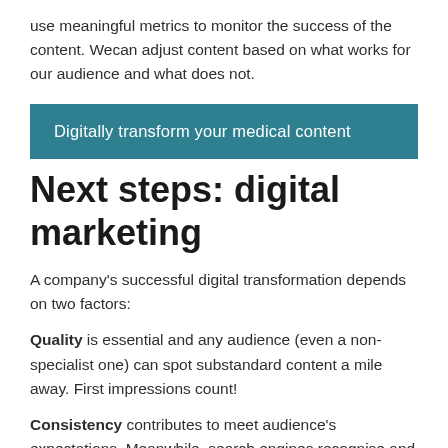use meaningful metrics to monitor the success of the content. Wecan adjust content based on what works for our audience and what does not.
Digitally transform your medical content
Next steps: digital marketing
A company’s successful digital transformation depends on two factors:
Quality is essential and any audience (even a non-specialist one) can spot substandard content a mile away. First impressions count!
Consistency contributes to meet audience’s expectations. Meanwhile, search engines recognise and